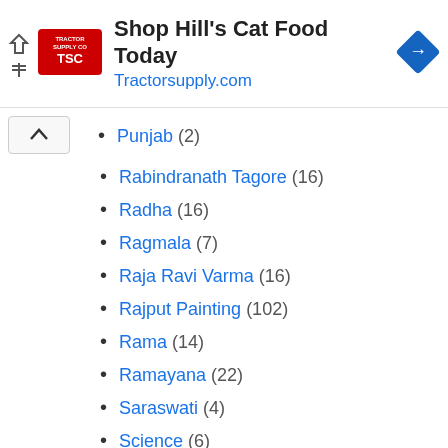[Figure (other): Advertisement banner for Tractor Supply Co - Shop Hill's Cat Food Today, Tractorsupply.com]
Punjab (2)
Rabindranath Tagore (16)
Radha (16)
Ragmala (7)
Raja Ravi Varma (16)
Rajput Painting (102)
Rama (14)
Ramayana (22)
Saraswati (4)
Science (6)
Sculpture (53)
Second Century (1)